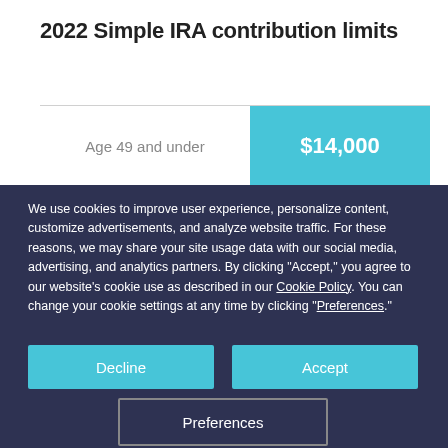2022 Simple IRA contribution limits
|  |  |
| --- | --- |
| Age 49 and under | $14,000 |
We use cookies to improve user experience, personalize content, customize advertisements, and analyze website traffic. For these reasons, we may share your site usage data with our social media, advertising, and analytics partners. By clicking “Accept,” you agree to our website’s cookie use as described in our Cookie Policy. You can change your cookie settings at any time by clicking “Preferences.”